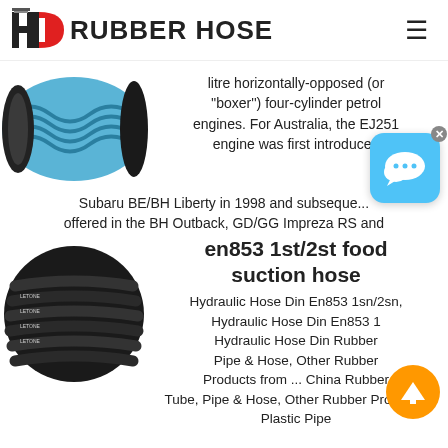[Figure (logo): HD Rubber Hose logo with red D shape and black H, followed by bold text RUBBER HOSE]
[Figure (photo): Blue and black spiral-reinforced suction hose]
litre horizontally-opposed (or "boxer") four-cylinder petrol engines. For Australia, the EJ251 engine was first introduced in the Subaru BE/BH Liberty in 1998 and subsequently offered in the BH Outback, GD/GG Impreza RS and
[Figure (photo): Black hydraulic rubber hoses bundled together]
en853 1st/2st food suction hose
Hydraulic Hose Din En853 1sn/2sn, Hydraulic Hose Din En853 1 Hydraulic Hose Din Rubber Pipe & Hose, Other Rubber Products from ... China Rubber Tube, Pipe & Hose, Other Rubber Products, Plastic Pipe